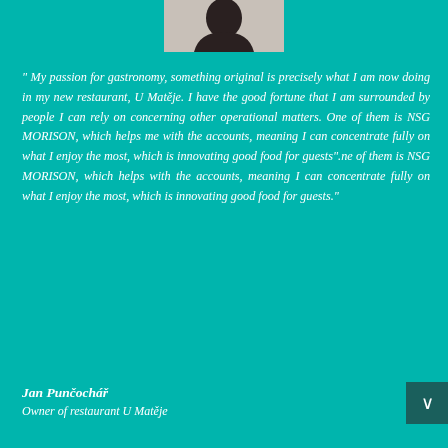[Figure (photo): Partial photo of a person with dark hair, cropped at top of page, circular or portrait format]
“ My passion for gastronomy, something original is precisely what I am now doing in my new restaurant, U Matěje. I have the good fortune that I am surrounded by people I can rely on concerning other operational matters. One of them is NSG MORISON, which helps me with the accounts, meaning I can concentrate fully on what I enjoy the most, which is innovating good food for guests”.ne of them is NSG MORISON, which helps with the accounts, meaning I can concentrate fully on what I enjoy the most, which is innovating good food for guests.”
Jan Punčochář
Owner of restaurant U Matěje